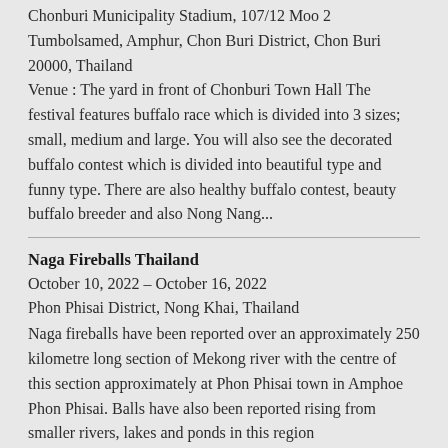Chonburi Municipality Stadium, 107/12 Moo 2 Tumbolsamed, Amphur, Chon Buri District, Chon Buri 20000, Thailand
Venue : The yard in front of Chonburi Town Hall The festival features buffalo race which is divided into 3 sizes; small, medium and large. You will also see the decorated buffalo contest which is divided into beautiful type and funny type. There are also healthy buffalo contest, beauty buffalo breeder and also Nong Nang...
Naga Fireballs Thailand
October 10, 2022 – October 16, 2022
Phon Phisai District, Nong Khai, Thailand
Naga fireballs have been reported over an approximately 250 kilometre long section of Mekong river with the centre of this section approximately at Phon Phisai town in Amphoe Phon Phisai. Balls have also been reported rising from smaller rivers, lakes and ponds in this region
Phuket Vegetarian Festival